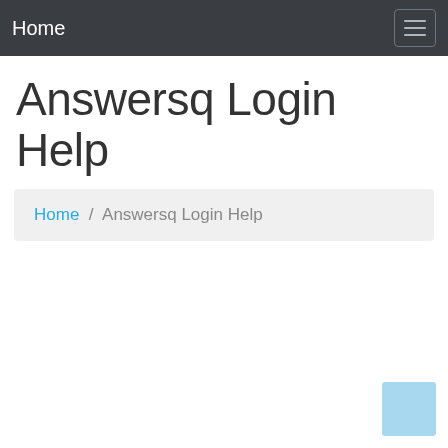Home
Answersq Login Help
Home / Answersq Login Help